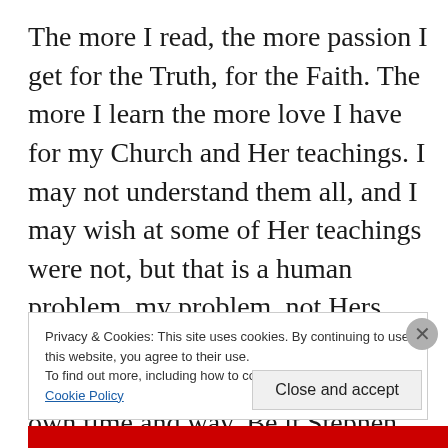The more I read, the more passion I get for the Truth, for the Faith. The more I learn the more love I have for my Church and Her teachings. I may not understand them all, and I may wish at some of Her teachings were not, but that is a human problem, my problem, not Hers. Reading provides me with the ability to discover the truth, in my own time and way. Be it Stephen King or Catholic Answers Magazine, The Truth will shine through the pages. The Truth will set you free, a lesson we all need to learn and relearn on a daily basis. The Bishops would be smart to
Privacy & Cookies: This site uses cookies. By continuing to use this website, you agree to their use.
To find out more, including how to control cookies, see here: Cookie Policy
Close and accept